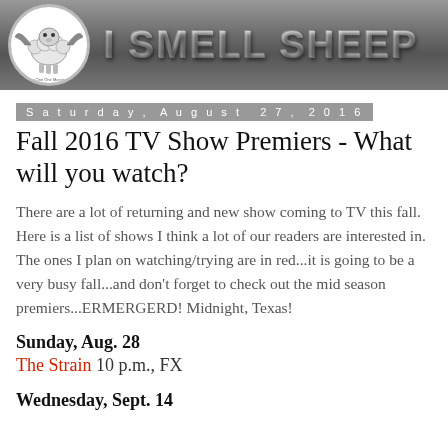[Figure (logo): I Smell Sheep blog banner with sheep mascot logo and metallic title text on gray background]
Saturday, August 27, 2016
Fall 2016 TV Show Premiers - What will you watch?
There are a lot of returning and new show coming to TV this fall. Here is a list of shows I think a lot of our readers are interested in. The ones I plan on watching/trying are in red...it is going to be a very busy fall...and don't forget to check out the mid season premiers...ERMERGERD! Midnight, Texas!
Sunday, Aug. 28
The Strain 10 p.m., FX
Wednesday, Sept. 14